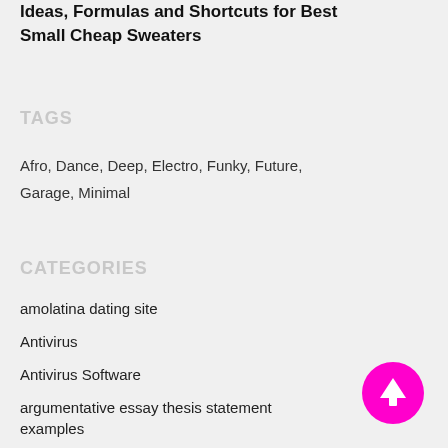Ideas, Formulas and Shortcuts for Best Small Cheap Sweaters
TAGS
Afro, Dance, Deep, Electro, Funky, Future, Garage, Minimal
CATEGORIES
amolatina dating site
Antivirus
Antivirus Software
argumentative essay thesis statement examples
[Figure (illustration): Magenta circular button with upward arrow icon]